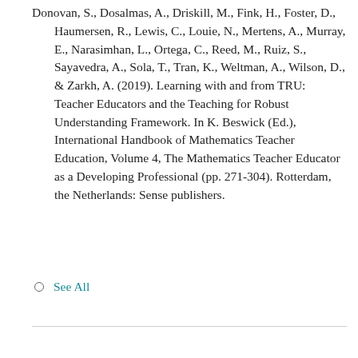Donovan, S., Dosalmas, A., Driskill, M., Fink, H., Foster, D., Haumersen, R., Lewis, C., Louie, N., Mertens, A., Murray, E., Narasimhan, L., Ortega, C., Reed, M., Ruiz, S., Sayavedra, A., Sola, T., Tran, K., Weltman, A., Wilson, D., & Zarkh, A. (2019). Learning with and from TRU: Teacher Educators and the Teaching for Robust Understanding Framework. In K. Beswick (Ed.), International Handbook of Mathematics Teacher Education, Volume 4, The Mathematics Teacher Educator as a Developing Professional (pp. 271-304). Rotterdam, the Netherlands: Sense publishers.
See All
Resources
Related Spotlights
Online & Blended Professional Development